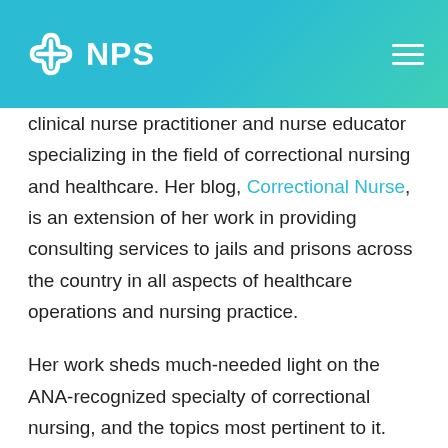NPS
clinical nurse practitioner and nurse educator specializing in the field of correctional nursing and healthcare. Her blog, Correctional Nurse, is an extension of her work in providing consulting services to jails and prisons across the country in all aspects of healthcare operations and nursing practice.
Her work sheds much-needed light on the ANA-recognized specialty of correctional nursing, and the topics most pertinent to it. Content includes information on the scope of practice, mental health conditions, ethics codes. Readers can also catch up on 150 episodes of the Correctional...